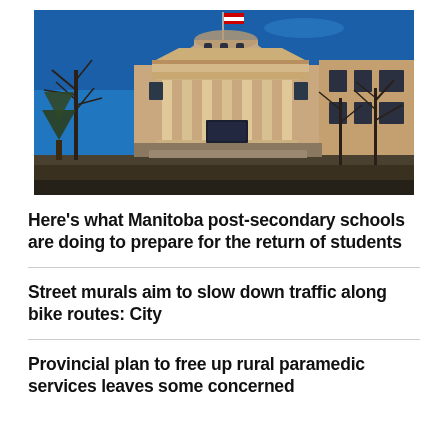[Figure (photo): Photograph of a grand historic university or government building with classical columns, ornate stone facade, copper-domed rotunda with a flag on top, brick upper stories, and bare winter trees against a bright blue sky.]
Here's what Manitoba post-secondary schools are doing to prepare for the return of students
Street murals aim to slow down traffic along bike routes: City
Provincial plan to free up rural paramedic services leaves some concerned